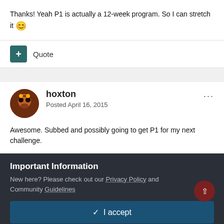Thanks! Yeah P1 is actually a 12-week program. So I can stretch it 😊
+ Quote
hoxton
Posted April 16, 2015
Awesome. Subbed and possibly going to get P1 for my next challenge.
Important Information
New here? Please check out our Privacy Policy and Community Guidelines
✓ I accept